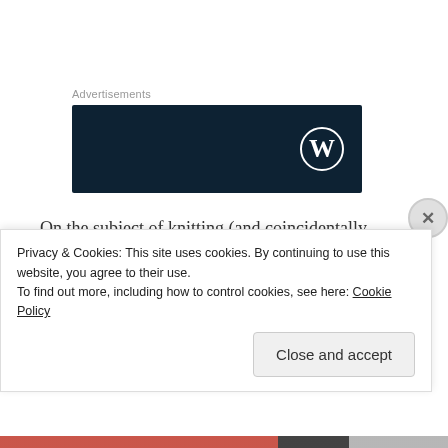Advertisements
[Figure (logo): Dark navy blue advertisement banner with white WordPress logo (W in circle) on right side]
On the subject of knitting (and coincidentally continuing with the Harry Potter theme), I'm knitting yet another set of Hermione's Everyday Socks (in what is not quite, but hints at, Gryffindor scarlet).
Privacy & Cookies: This site uses cookies. By continuing to use this website, you agree to their use.
To find out more, including how to control cookies, see here: Cookie Policy
Close and accept